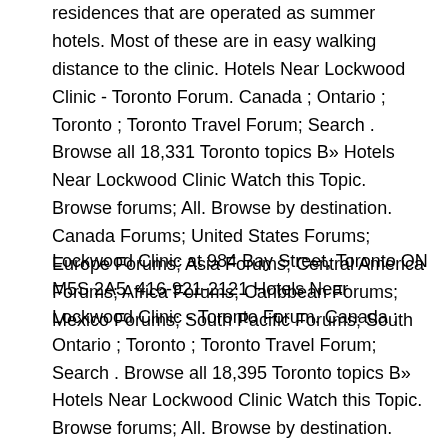residences that are operated as summer hotels. Most of these are in easy walking distance to the clinic. Hotels Near Lockwood Clinic - Toronto Forum. Canada ; Ontario ; Toronto ; Toronto Travel Forum; Search . Browse all 18,331 Toronto topics B» Hotels Near Lockwood Clinic Watch this Topic. Browse forums; All. Browse by destination. Canada Forums; United States Forums; Europe Forums; Asia Forums; Central America Forums; Africa Forums; Caribbean Forums; Mexico Forums; South Pacific Forums; South
Lockwood Clinic at 984 Bay Street, Toronto ON M5S 2A5, 416-921-2121 Hotels Near Lockwood Clinic - Toronto Forum. Canada ; Ontario ; Toronto ; Toronto Travel Forum; Search . Browse all 18,395 Toronto topics B» Hotels Near Lockwood Clinic Watch this Topic. Browse forums; All. Browse by destination. India Forums; United States Forums; Europe Forums; Canada Forums; Asia Forums; Central America